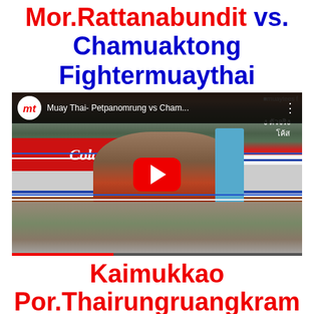Mor.Rattanabundit vs. Chamuaktong Fightermuaythai
[Figure (screenshot): YouTube video thumbnail showing a Muay Thai boxing match between Petpanomrung and Chamuaktong at an outdoor venue with Coca-Cola advertising banners. Two fighters clinching in the ring with a referee visible. Red YouTube play button overlaid in center.]
Kaimukkao Por.Thairungruangkram